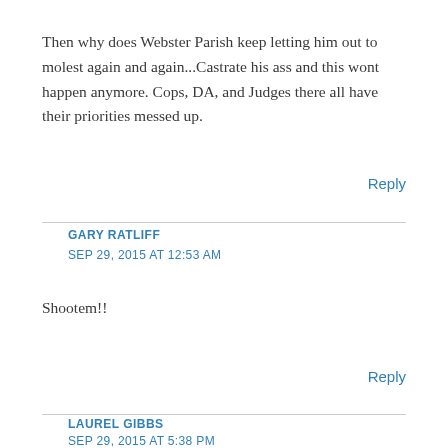Then why does Webster Parish keep letting him out to molest again and again...Castrate his ass and this wont happen anymore. Cops, DA, and Judges there all have their priorities messed up.
Reply
GARY RATLIFF
SEP 29, 2015 AT 12:53 AM
Shootem!!
Reply
LAUREL GIBBS
SEP 29, 2015 AT 5:38 PM